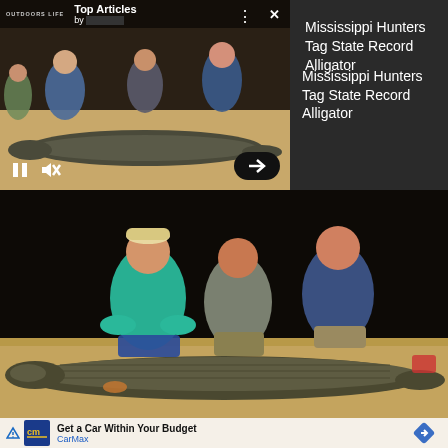[Figure (screenshot): Video player overlay showing hunters with large alligator. Top bar has Outdoor Life logo, 'Top Articles by' label, three-dot menu, and X close button. Bottom controls show pause, mute icons and arrow button.]
Mississippi Hunters Tag State Record Alligator
[Figure (photo): Three men crouching behind a very large alligator laid out on sandy ground at night. Left man wears teal shirt and cap, middle man wears gray shirt, right man wears blue shirt. Background is dark/black.]
[Figure (screenshot): Advertisement: CarMax logo (yellow 'cm' on dark blue background), text 'Get a Car Within Your Budget', 'CarMax' in blue, blue diamond arrow icon on right, small triangular ad indicator on bottom left.]